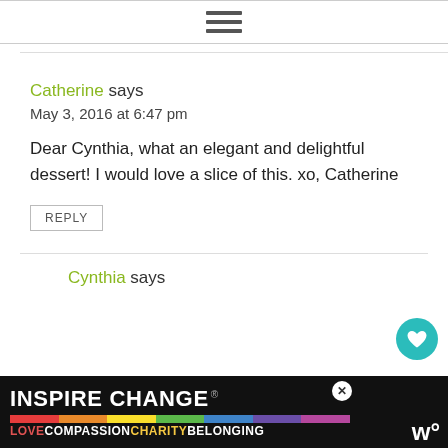hamburger menu icon
Catherine says
May 3, 2016 at 6:47 pm

Dear Cynthia, what an elegant and delightful dessert! I would love a slice of this. xo, Catherine
REPLY
Cynthia says
[Figure (other): INSPIRE CHANGE / LOVE COMPASSION CHARITY BELONGING advertisement banner with rainbow colors]